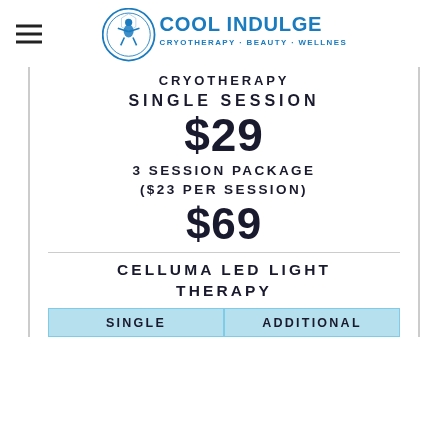[Figure (logo): Cool Indulge logo — circular blue icon with snowflake/figure design, text 'COOL INDULGE' in blue, tagline 'CRYOTHERAPY · BEAUTY · WELLNESS']
CRYOTHERAPY
SINGLE SESSION
$29
3 SESSION PACKAGE ($23 PER SESSION)
$69
CELLUMA LED LIGHT THERAPY
| SINGLE | ADDITIONAL |
| --- | --- |